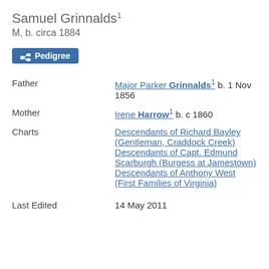Samuel Grinnalds¹
M, b. circa 1884
Pedigree
| Field | Value |
| --- | --- |
| Father | Major Parker Grinnalds¹ b. 1 Nov 1856 |
| Mother | Irene Harrow¹ b. c 1860 |
| Charts | Descendants of Richard Bayley (Gentleman, Craddock Creek)
Descendants of Capt. Edmund Scarburgh (Burgess at Jamestown)
Descendants of Anthony West (First Families of Virginia) |
| Last Edited | 14 May 2011 |